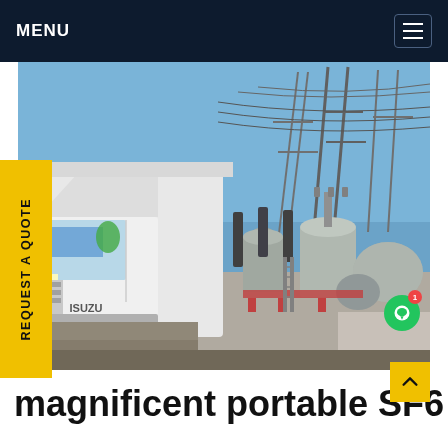MENU
[Figure (photo): An Isuzu truck parked at an electrical substation with large transformers, insulators, transmission towers and overhead power lines in background under blue sky. A yellow 'REQUEST A QUOTE' badge is overlaid on the left side of the image.]
magnificent portable SF6